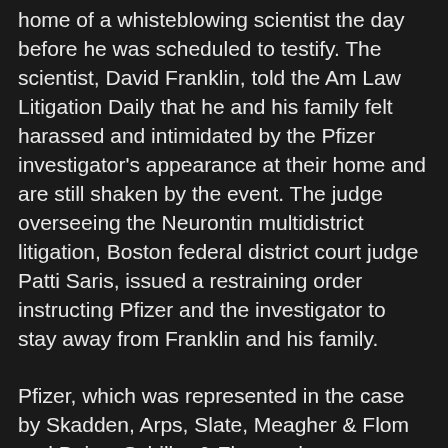home of a whisteblowing scientist the day before he was scheduled to testify. The scientist, David Franklin, told the Am Law Litigation Daily that he and his family felt harassed and intimidated by the Pfizer investigator's appearance at their home and are still shaken by the event. The judge overseeing the Neurontin multidistrict litigation, Boston federal district court judge Patti Saris, issued a restraining order instructing Pfizer and the investigator to stay away from Franklin and his family.
Pfizer, which was represented in the case by Skadden, Arps, Slate, Meagher & Flom and Boies, Schiller & Flexner, has apologized to the court for the incident, but maintains in a newly filed brief [PDF] that Franklin exaggerated the facts "to attract negative media attention to Pfizer." Skadden and Boies Schiller lawyers say in the filing that Pfizer's investigator followed standard protocols and was not hostile or threatening to the scientist or his family. They